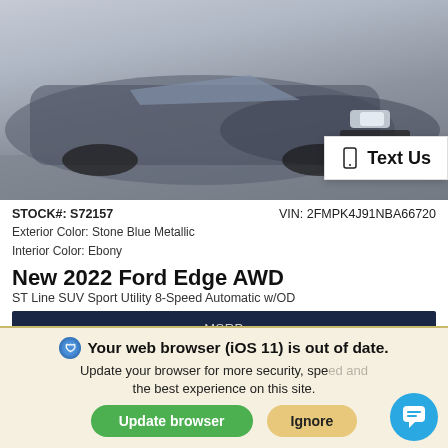[Figure (photo): Front view of a dark blue/gray Ford Edge SUV on a light background, with a 'Text Us' button overlay in the bottom right corner]
STOCK#: S72157    VIN: 2FMPK4J91NBA66720
Exterior Color: Stone Blue Metallic
Interior Color: Ebony
New 2022 Ford Edge AWD
ST Line SUV Sport Utility 8-Speed Automatic w/OD
MSRP
$52,584
Lease for Only    Finance
Your web browser (iOS 11) is out of date.
Update your browser for more security, speed and the best experience on this site.
Update browser   Ignore